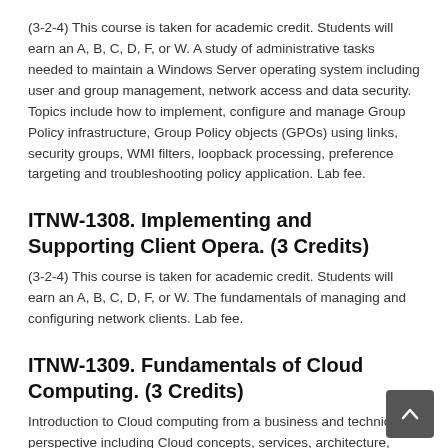(3-2-4) This course is taken for academic credit. Students will earn an A, B, C, D, F, or W. A study of administrative tasks needed to maintain a Windows Server operating system including user and group management, network access and data security. Topics include how to implement, configure and manage Group Policy infrastructure, Group Policy objects (GPOs) using links, security groups, WMI filters, loopback processing, preference targeting and troubleshooting policy application. Lab fee.
ITNW-1308. Implementing and Supporting Client Opera. (3 Credits)
(3-2-4) This course is taken for academic credit. Students will earn an A, B, C, D, F, or W. The fundamentals of managing and configuring network clients. Lab fee.
ITNW-1309. Fundamentals of Cloud Computing. (3 Credits)
Introduction to Cloud computing from a business and technical perspective including Cloud concepts, services, architecture, system integration,